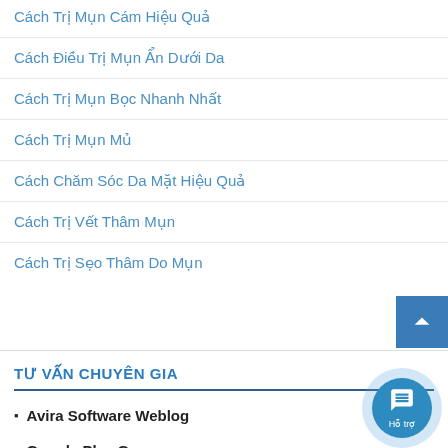Cách Trị Mụn Cám Hiệu Quả
Cách Điều Trị Mụn Ẩn Dưới Da
Cách Trị Mụn Bọc Nhanh Nhất
Cách Trị Mụn Mủ
Cách Chăm Sóc Da Mặt Hiệu Quả
Cách Trị Vết Thâm Mụn
Cách Trị Sẹo Thâm Do Mụn
TƯ VẤN CHUYÊN GIA
Avira Software Weblog
Google Play Games